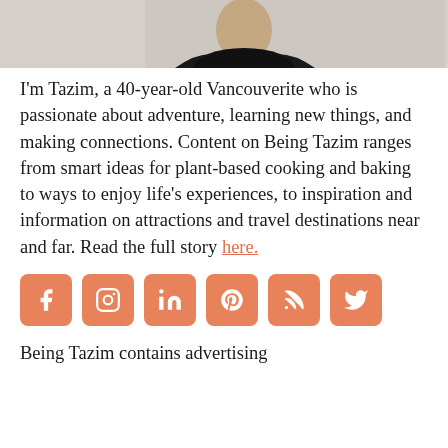[Figure (photo): Photo of Tazim, partially visible at top of page, person in black top against light background]
I'm Tazim, a 40-year-old Vancouverite who is passionate about adventure, learning new things, and making connections. Content on Being Tazim ranges from smart ideas for plant-based cooking and baking to ways to enjoy life's experiences, to inspiration and information on attractions and travel destinations near and far. Read the full story here.
[Figure (infographic): Row of six social media icon buttons (Facebook, Instagram, LinkedIn, Pinterest, RSS, Twitter) in orange/salmon rounded square buttons]
Being Tazim contains advertising